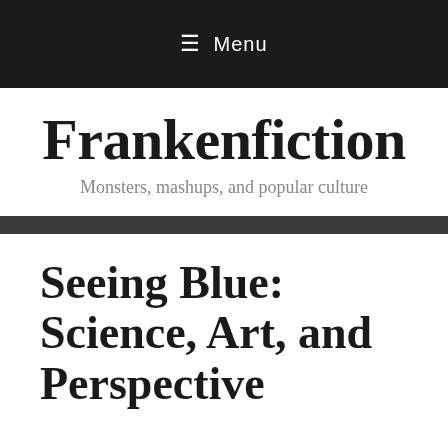≡ Menu
Frankenfiction
Monsters, mashups, and popular culture
Seeing Blue: Science, Art, and Perspective